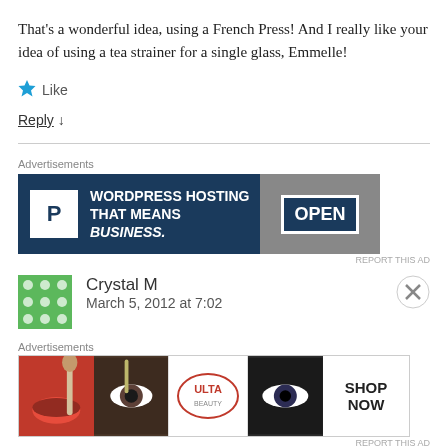That's a wonderful idea, using a French Press! And I really like your idea of using a tea strainer for a single glass, Emmelle!
★ Like
Reply ↓
[Figure (screenshot): WordPress Hosting advertisement banner with text 'WORDPRESS HOSTING THAT MEANS BUSINESS.' and an OPEN sign image on dark navy background]
REPORT THIS AD
Crystal M
March 5, 2012 at 7:02
[Figure (screenshot): ULTA Beauty advertisement banner with makeup images and 'SHOP NOW' text]
REPORT THIS AD